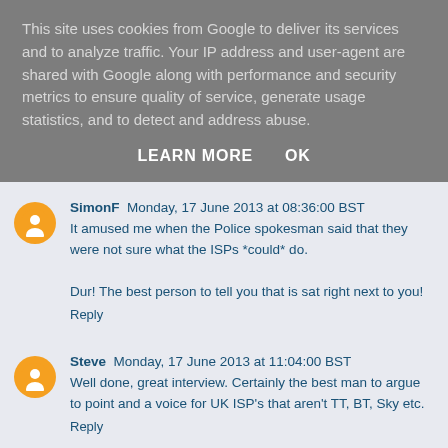This site uses cookies from Google to deliver its services and to analyze traffic. Your IP address and user-agent are shared with Google along with performance and security metrics to ensure quality of service, generate usage statistics, and to detect and address abuse.
LEARN MORE   OK
SimonF  Monday, 17 June 2013 at 08:36:00 BST
It amused me when the Police spokesman said that they were not sure what the ISPs *could* do.

Dur! The best person to tell you that is sat right next to you!
Reply
Steve  Monday, 17 June 2013 at 11:04:00 BST
Well done, great interview. Certainly the best man to argue to point and a voice for UK ISP's that aren't TT, BT, Sky etc.
Reply